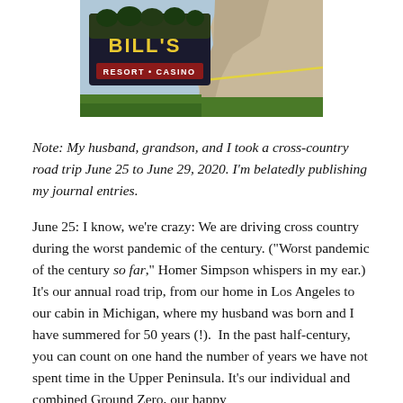[Figure (photo): Photo of Bill's Resort and Casino sign with rocky terrain in background]
Note: My husband, grandson, and I took a cross-country road trip June 25 to June 29, 2020. I'm belatedly publishing my journal entries.
June 25: I know, we're crazy: We are driving cross country during the worst pandemic of the century. ("Worst pandemic of the century so far," Homer Simpson whispers in my ear.) It's our annual road trip, from our home in Los Angeles to our cabin in Michigan, where my husband was born and I have summered for 50 years (!).  In the past half-century, you can count on one hand the number of years we have not spent time in the Upper Peninsula. It's our individual and combined Ground Zero, our happy